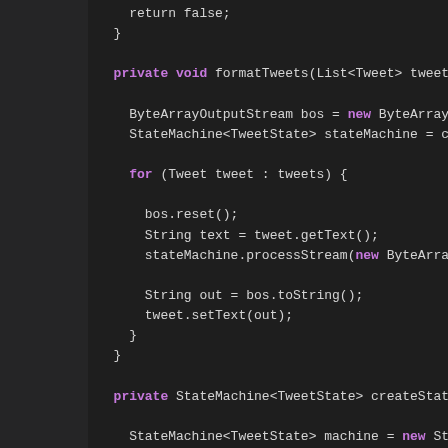[Figure (screenshot): Code editor screenshot showing Java source code with methods formatTweets and createStateMachine, using syntax highlighting with keywords in purple and code in monospace font on dark background.]